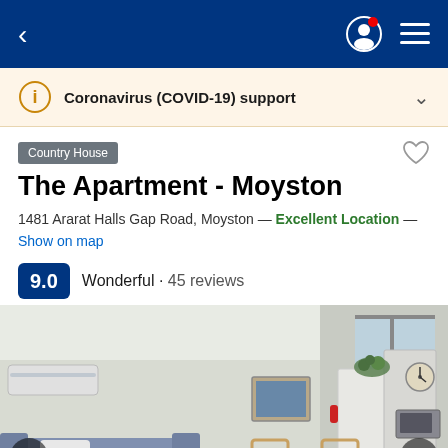< [navigation] [profile icon] [menu icon]
Coronavirus (COVID-19) support
Country House
The Apartment - Moyston
1481 Ararat Halls Gap Road, Moyston — Excellent Location — Show on map
9.0 Wonderful · 45 reviews
[Figure (photo): Interior photo of The Apartment - Moyston showing a living/dining area with a sofa, wooden chairs, refrigerator, microwave, wall clock, framed picture, air conditioning unit, and plants.]